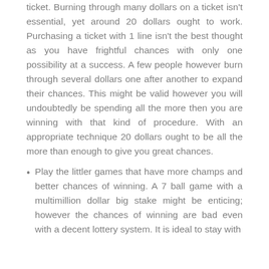ticket. Burning through many dollars on a ticket isn't essential, yet around 20 dollars ought to work. Purchasing a ticket with 1 line isn't the best thought as you have frightful chances with only one possibility at a success. A few people however burn through several dollars one after another to expand their chances. This might be valid however you will undoubtedly be spending all the more then you are winning with that kind of procedure. With an appropriate technique 20 dollars ought to be all the more than enough to give you great chances.
Play the littler games that have more champs and better chances of winning. A 7 ball game with a multimillion dollar big stake might be enticing; however the chances of winning are bad even with a decent lottery system. It is ideal to stay with better ones will absolutely shot at the least jackpot.